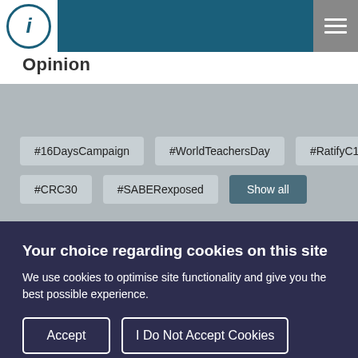Opinion
#16DaysCampaign
#WorldTeachersDay
#RatifyC190
#CRC30
#SABERexposed
Show all
Your choice regarding cookies on this site
We use cookies to optimise site functionality and give you the best possible experience.
Accept
I Do Not Accept Cookies
Cookie Preferences